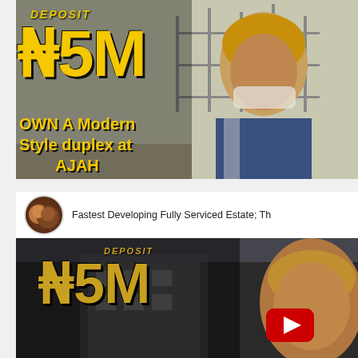[Figure (photo): Real estate advertisement thumbnail: Yellow bold text 'DEPOSIT ₦5M OWN A Modern Style duplex at AJAH' over a construction site background with a smiling woman with blonde hair and a face mask pulled down, wearing a patterned jacket.]
[Figure (screenshot): YouTube video thumbnail preview showing channel avatar with two women, title 'Fastest Developing Fully Serviced Estate; Th...' (truncated), and a video frame with 'DEPOSIT ₦5M' text in gold on dark background with a woman smiling and a YouTube play button.]